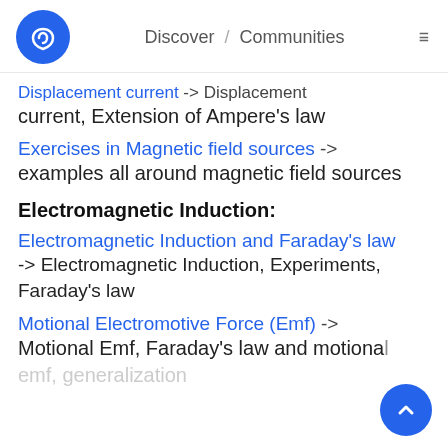Discover / Communities
Displacement current -> Displacement current, Extension of Ampere's law
Exercises in Magnetic field sources -> examples all around magnetic field sources
Electromagnetic Induction:
Electromagnetic Induction and Faraday's law -> Electromagnetic Induction, Experiments, Faraday's law
Motional Electromotive Force (Emf) -> Motional Emf, Faraday's law and motional emf, generalization